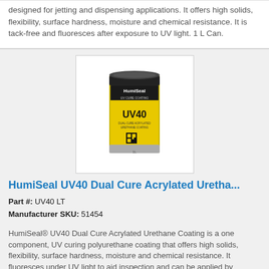designed for jetting and dispensing applications. It offers high solids, flexibility, surface hardness, moisture and chemical resistance. It is tack-free and fluoresces after exposure to UV light. 1 L Can.
[Figure (photo): HumiSeal UV40 product in a 1L yellow and black can with QR code label]
HumiSeal UV40 Dual Cure Acrylated Uretha...
Part #: UV40 LT
Manufacturer SKU: 51454
HumiSeal® UV40 Dual Cure Acrylated Urethane Coating is a one component, UV curing polyurethane coating that offers high solids, flexibility, surface hardness, moisture and chemical resistance. It fluoresces under UV light to aid inspection and can be applied by spraying or brushing